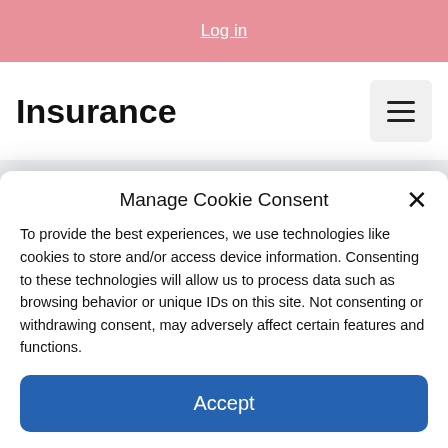Log in
Insurance
Manage Cookie Consent
To provide the best experiences, we use technologies like cookies to store and/or access device information. Consenting to these technologies will allow us to process data such as browsing behavior or unique IDs on this site. Not consenting or withdrawing consent, may adversely affect certain features and functions.
Accept